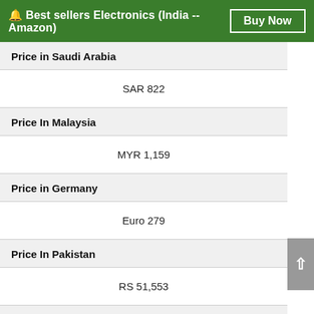🔔 Best sellers Electronics (India -- Amazon)  Buy Now
| Country | Price |
| --- | --- |
| Price In Saudi Arabia | SAR 822 |
| Price In Malaysia | MYR 1,159 |
| Price in Germany | Euro 279 |
| Price In Pakistan | RS 51,553 |
| Price In Philippines | PHP 14,818 |
| Price In China | CNY 2,067 |